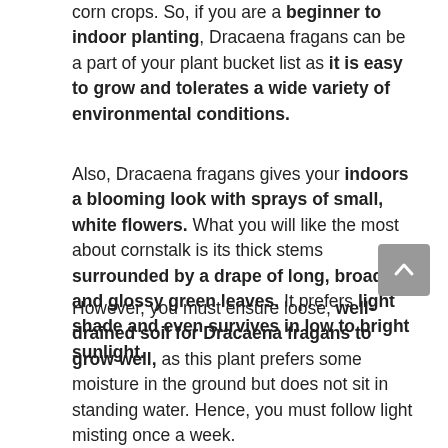corn crops. So, if you are a beginner to indoor planting, Dracaena fragans can be a part of your plant bucket list as it is easy to grow and tolerates a wide variety of environmental conditions.
Also, Dracaena fragans gives your indoors a blooming look with sprays of small, white flowers. What you will like the most about cornstalk is its thick stems surrounded by a drape of long, broad, and glossy green leaves. It prefers light shade and even survives in low to bright sunlight.
However, you must ensure loose, well-drained soil for Dracaena fragans to grow well, as this plant prefers some moisture in the ground but does not sit in standing water. Hence, you must follow light misting once a week.